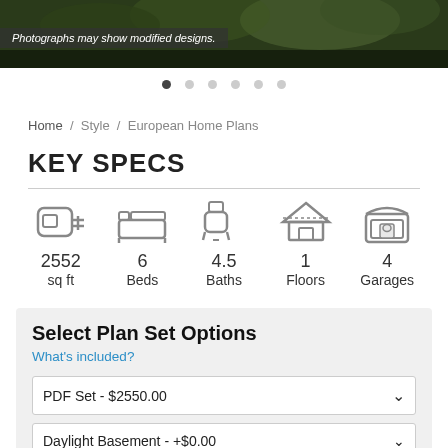[Figure (photo): Photograph of a home exterior with dark landscaping and greenery]
Photographs may show modified designs.
Home / Style / European Home Plans
KEY SPECS
[Figure (infographic): Key specs icons and values: 2552 sq ft, 6 Beds, 4.5 Baths, 1 Floors, 4 Garages]
Select Plan Set Options
What's included?
PDF Set - $2550.00
Daylight Basement - +$0.00